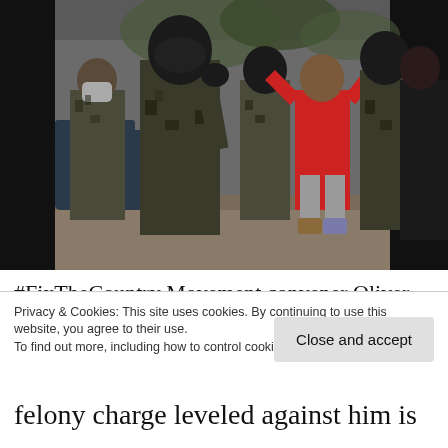[Figure (photo): Photograph of police officers in camouflage tactical gear standing among civilians. One person in a red shirt is visible in the background. Officers are wearing helmets and body armor.]
#FixTheCountry Movement convener Oliver Barker-Vormawor, who has been in detention for a month over his coup threat
Privacy & Cookies: This site uses cookies. By continuing to use this website, you agree to their use.
To find out more, including how to control cookies, see here: Cookie Policy
Close and accept
felony charge leveled against him is